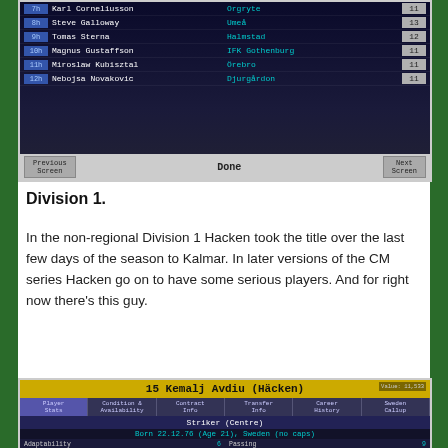[Figure (screenshot): Game screenshot showing a ranked player list with names, clubs, and scores. Rows include: 7th Karl Corneliusson (Orgryte, 11), 8th Steve Galloway (Umea, 13), 9th Tomas Sterna (Halmstad, 12), 10th Magnus Gustaffson (IFK Gothenburg, 11), 11th Miroslaw Kubisztal (Orebro, 11), 12th Nebojsa Novakovic (Djurgardon, 11). Bottom bar has Previous Screen, Done, Next Screen buttons.]
Division 1.
In the non-regional Division 1 Hacken took the title over the last few days of the season to Kalmar. In later versions of the CM series Hacken go on to have some serious players. And for right now there’s this guy.
[Figure (screenshot): Game screenshot showing player profile for 15 Kemalj Avdiu (Hacken). Position: Striker (Centre). Born 22.12.76 (Age 21), Sweden (no caps). Stats shown: Adaptability 6, Aggression 15, Creativity 13, Determination 12, Dribbling 14, Flair 14, Heading 13, Influence 19, Injury proneness 6; Passing 9, Positioning 16, Set pieces 9, Shooting 19, Stamina 6, Strength 18, Tackling 3, Technique 12, Current Form: Good.]